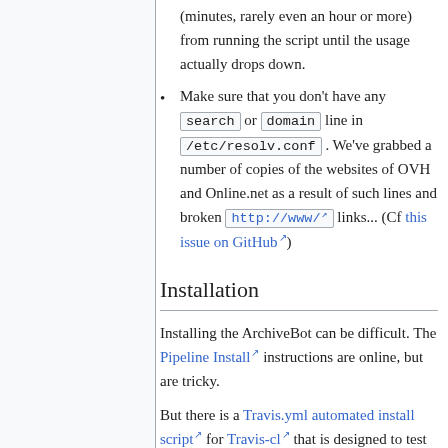(minutes, rarely even an hour or more) from running the script until the usage actually drops down.
Make sure that you don't have any search or domain line in /etc/resolv.conf . We've grabbed a number of copies of the websites of OVH and Online.net as a result of such lines and broken http://www/ links... (Cf this issue on GitHub)
Installation
Installing the ArchiveBot can be difficult. The Pipeline Install instructions are online, but are tricky.
But there is a Travis.yml automated install script for Travis-cl that is designed to test the ArchiveBot.